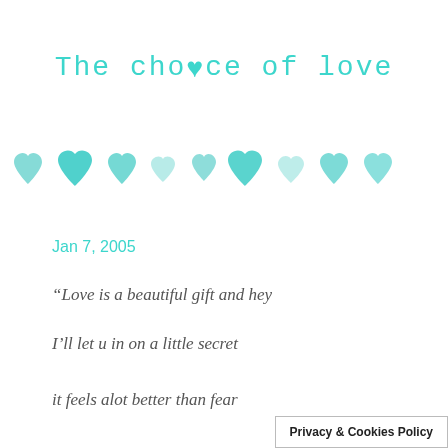The choice of love
[Figure (illustration): A row of nine watercolor teal/turquoise hearts of varying sizes and shades]
Jan 7, 2005
“Love is a beautiful gift and hey
I’ll let u in on a little secret
it feels alot better than fear
Privacy & Cookies Policy